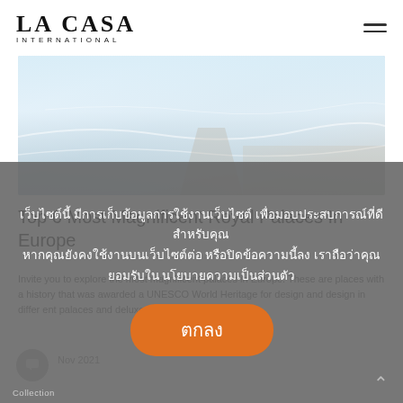LA CASA INTERNATIONAL
[Figure (photo): Aerial or wide-angle photo of a snowy/icy landscape with light blue and white tones, possibly a frozen path or snow field.]
Top 6 Most Magnificent Royal Palaces In Europe
Invite you to explore the most magnificent palaces in Europe. These are places with a history that was awarded a UNESCO World Heritage for design and design in differ ent palaces and deluxe decorations.
เว็บไซต์นี้ มีการเก็บข้อมูลการใช้งานเว็บไซต์ เพื่อมอบประสบการณ์ที่ดีสำหรับคุณ หากคุณยังคงใช้งานบนเว็บไซต์ต่อ หรือปิดข้อความนี้ลง เราถือว่าคุณยอมรับใน นโยบายความเป็นส่วนตัว
ตกลง
Nov 2021